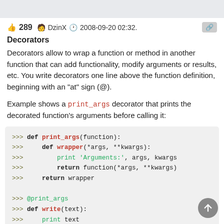👍 289 🧑 DzinX 🕐 2008-09-20 02:32.
Decorators
Decorators allow to wrap a function or method in another function that can add functionality, modify arguments or results, etc. You write decorators one line above the function definition, beginning with an "at" sign (@).
Example shows a print_args decorator that prints the decorated function's arguments before calling it:
[Figure (screenshot): Python code block showing print_args decorator definition and usage with @print_args and def write(text).]